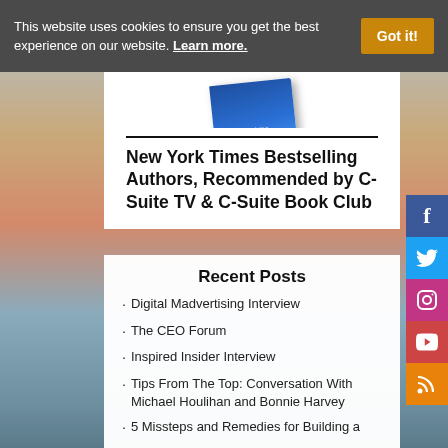This website uses cookies to ensure you get the best experience on our website. Learn more. Got it!
[Figure (photo): Blue book partially visible at top of white promo card]
New York Times Bestselling Authors, Recommended by C-Suite TV & C-Suite Book Club
Recent Posts
Digital Madvertising Interview
The CEO Forum
Inspired Insider Interview
Tips From The Top: Conversation With Michael Houlihan and Bonnie Harvey
5 Missteps and Remedies for Building a